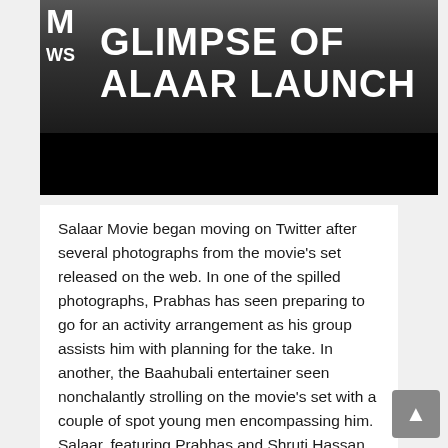[Figure (photo): Dark background image showing people on a movie set with large white text overlay reading 'GLIMPSE OF SALAAR LAUNCH' and a news channel badge showing 'M WS' in the top left corner]
Salaar Movie began moving on Twitter after several photographs from the movie's set released on the web. In one of the spilled photographs, Prabhas has seen preparing to go for an activity arrangement as his group assists him with planning for the take. In another, the Baahubali entertainer seen nonchalantly strolling on the movie's set with a couple of spot young men encompassing him. Salaar, featuring Prabhas and Shruti Hassan in the number one spot jobs, under creation. The producers completed 40% of the going for the movie.